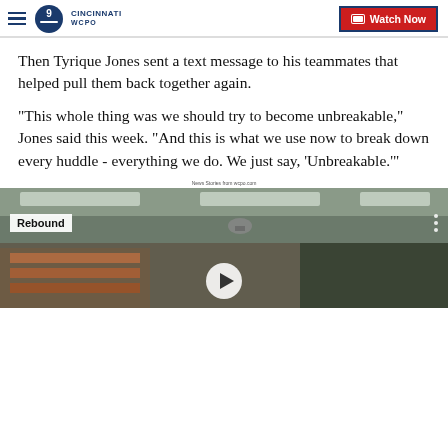WCPO 9 Cincinnati | Watch Now
Then Tyrique Jones sent a text message to his teammates that helped pull them back together again.
"This whole thing was we should try to become unbreakable," Jones said this week. “And this is what we use now to break down every huddle - everything we do. We just say, ‘Unbreakable.’"
News Stories from wcpo.com
[Figure (screenshot): Video thumbnail showing an indoor scene with a 'Rebound' label overlay and a play button at the bottom center]